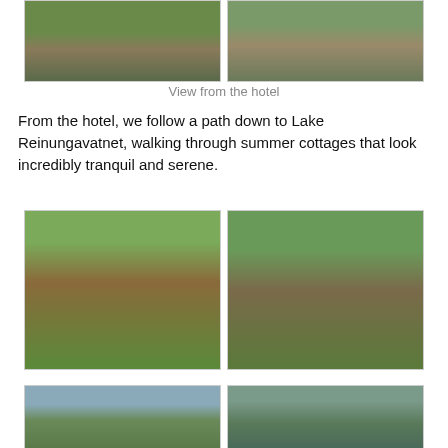[Figure (photo): Two landscape photos at top: left shows buildings on hillside with trees, right shows wooden bridge structure with people and greenery]
View from the hotel
From the hotel, we follow a path down to Lake Reinungavatnet, walking through summer cottages that look incredibly tranquil and serene.
[Figure (photo): Two photos of summer cottages surrounded by lush green ferns and trees: left shows a red wooden cottage, right shows a red cabin with a wide porch]
[Figure (photo): Two photos of lake landscape: left shows a lake with mountains and a small cabin, right shows a path near a lake through trees]